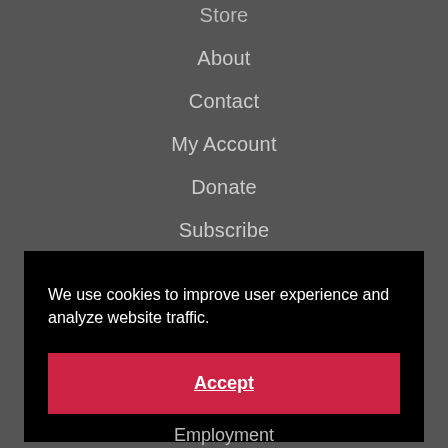Store
About
Contact
My Account
Donate
Subscribe
Digs
Free eBooks
We use cookies to improve user experience and analyze website traffic.
Accept
Employment